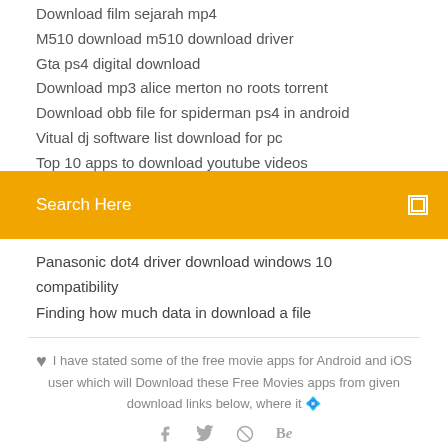Download film sejarah mp4
M510 download m510 download driver
Gta ps4 digital download
Download mp3 alice merton no roots torrent
Download obb file for spiderman ps4 in android
Vitual dj software list download for pc
Top 10 apps to download youtube videos
Search Here
Panasonic dot4 driver download windows 10 compatibility
Finding how much data in download a file
I have stated some of the free movie apps for Android and iOS user which will Download these Free Movies apps from given download links below, where it 🔷
[Figure (other): Social media icons: facebook, twitter, dribbble, behance]